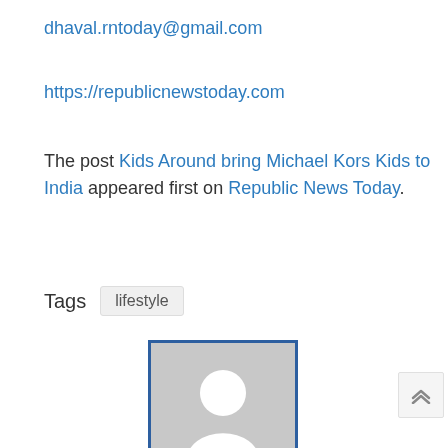dhaval.rntoday@gmail.com
https://republicnewstoday.com
The post Kids Around bring Michael Kors Kids to India appeared first on Republic News Today.
Tags  lifestyle
[Figure (photo): Default avatar placeholder image — grey silhouette of a person inside a blue-bordered frame]
Akshat Rajput